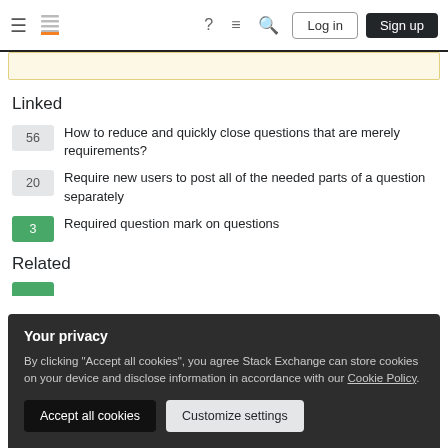Stack Exchange navigation bar with Log in and Sign up buttons
Linked
56 How to reduce and quickly close questions that are merely requirements?
20 Require new users to post all of the needed parts of a question separately
3 Required question mark on questions
Related
Your privacy
By clicking "Accept all cookies", you agree Stack Exchange can store cookies on your device and disclose information in accordance with our Cookie Policy.
Accept all cookies | Customize settings